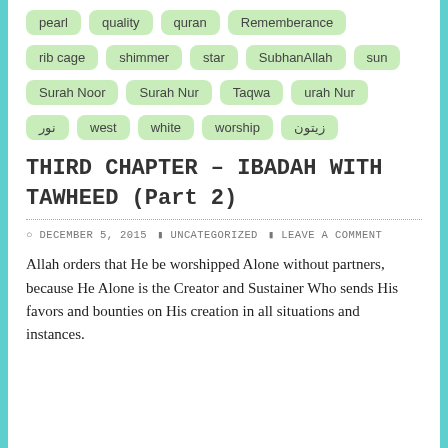pearl  quality  quran  Rememberance
rib cage  shimmer  star  SubhanAllah  sun
Surah Noor  Surah Nur  Taqwa  urah Nur
نور  west  white  worship  زیتون
THIRD CHAPTER – IBADAH WITH TAWHEED (Part 2)
DECEMBER 5, 2015   UNCATEGORIZED   LEAVE A COMMENT
Allah orders that He be worshipped Alone without partners, because He Alone is the Creator and Sustainer Who sends His favors and bounties on His creation in all situations and instances.